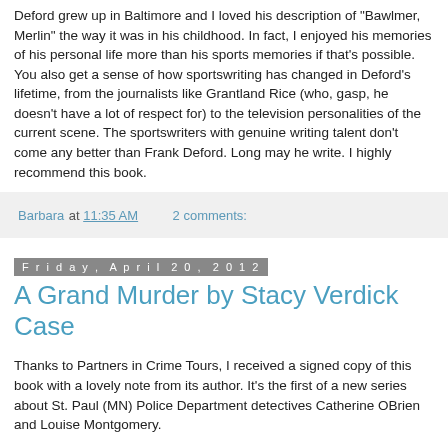Deford grew up in Baltimore and I loved his description of "Bawlmer, Merlin" the way it was in his childhood. In fact, I enjoyed his memories of his personal life more than his sports memories if that's possible. You also get a sense of how sportswriting has changed in Deford's lifetime, from the journalists like Grantland Rice (who, gasp, he doesn't have a lot of respect for) to the television personalities of the current scene. The sportswriters with genuine writing talent don't come any better than Frank Deford. Long may he write. I highly recommend this book.
Barbara at 11:35 AM   2 comments:
Friday, April 20, 2012
A Grand Murder by Stacy Verdick Case
Thanks to Partners in Crime Tours, I received a signed copy of this book with a lovely note from its author. It's the first of a new series about St. Paul (MN) Police Department detectives Catherine OBrien and Louise Montgomery.